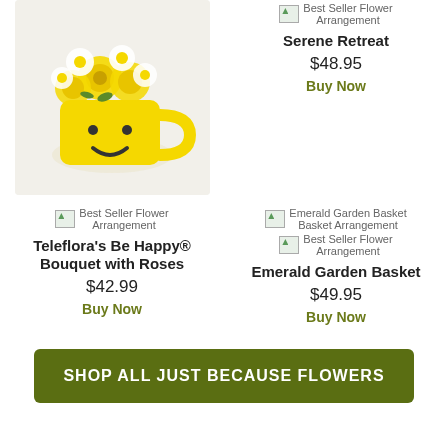[Figure (photo): Photo of flower arrangement in a yellow smiley face mug with yellow roses and daisies]
Best Seller Flower Arrangement
Serene Retreat
$48.95
Buy Now
Best Seller Flower Arrangement
Teleflora's Be Happy® Bouquet with Roses
$42.99
Buy Now
Emerald Garden Basket Basket Arrangement
Best Seller Flower Arrangement
Emerald Garden Basket
$49.95
Buy Now
SHOP ALL JUST BECAUSE FLOWERS